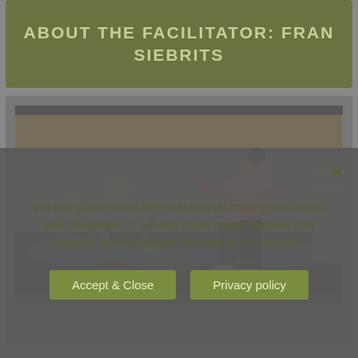ABOUT THE FACILITATOR: FRAN SIEBRITS
[Figure (photo): Group yoga/fitness class with multiple participants doing a side stretch pose, using green yoga blocks on blue mats in a studio]
We use cookies and other tracking technologies to assist with navigation, to provide social media features and security, and to analyse your use of our website.
Accept & Close
Privacy policy